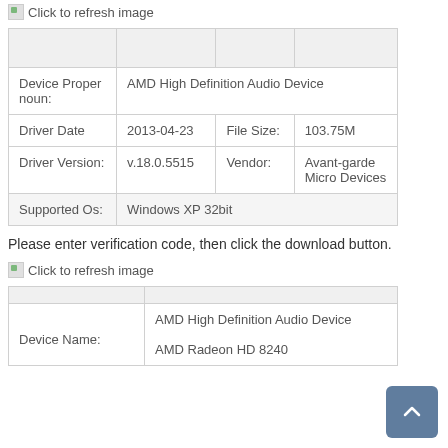[Figure (screenshot): Broken image icon with text 'Click to refresh image' at top of page]
|  |  |  |  |
| --- | --- | --- | --- |
| Device Proper noun: | AMD High Definition Audio Device |  |  |
| Driver Date | 2013-04-23 | File Size: | 103.75M |
| Driver Version: | v.18.0.5515 | Vendor: | Avant-garde Micro Devices |
| Supported Os: | Windows XP 32bit |  |  |
Please enter verification code, then click the download button.
[Figure (screenshot): Broken image icon with text 'Click to refresh image']
|  |  |
| --- | --- |
| Device Name: | AMD High Definition Audio Device
AMD Radeon HD 8240 |